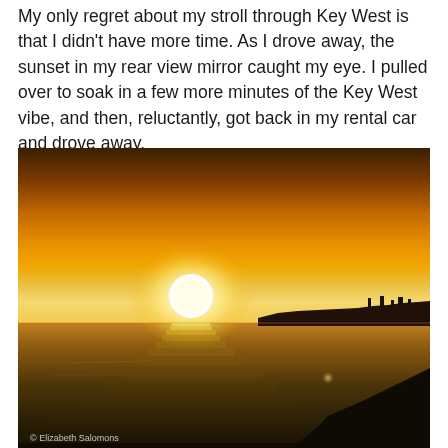My only regret about my stroll through Key West is that I didn't have more time. As I drove away, the sunset in my rear view mirror caught my eye. I pulled over to soak in a few more minutes of the Key West vibe, and then, reluctantly, got back in my rental car and drove away.
[Figure (photo): A sunset photograph over a calm body of water near Key West. A bright white-yellow sun sits just above the horizon, casting a glowing reflection across the water. The sky transitions from bright yellow-orange near the sun to deep amber and brown hues. A dark silhouette of land and structures is visible on the right horizon. A portion of a dark surface (car or dock edge) is visible in the lower right corner. A photographer watermark reads '© Elizabeth Salomons' in the lower left.]